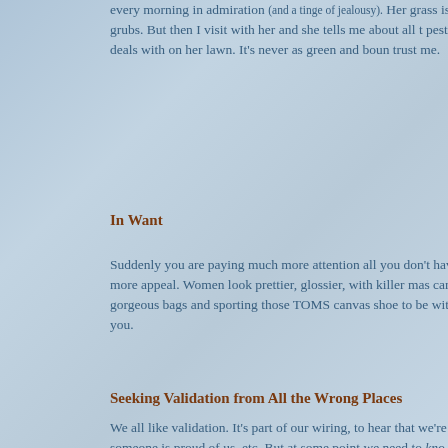every morning in admiration (and a tinge of jealousy). Her grass is gre… have grubs. But then I visit with her and she tells me about all the pests she deals with on her lawn. It's never as green and boun… trust me.
In Want
Suddenly you are paying much more attention all you don't hav… hold more appeal. Women look prettier, glossier, with killer mas… carrying gorgeous bags and sporting those TOMS canvas shoe… to be with it but you.
Seeking Validation from All the Wrong Places
We all like validation. It's part of our wiring, to hear that we're d… someone is proud of us, etc. But at some point we need to know steps on the path. If you're constantly looking behind you, to yo… for someone to nod before you take another step, be warned th… very well be down a gaping pit.
What happens when you've fallen into a trap? It's immensely d… That's why it pays to know when you're close to losing ground… firm, then move in the right direction at the right time. Have…